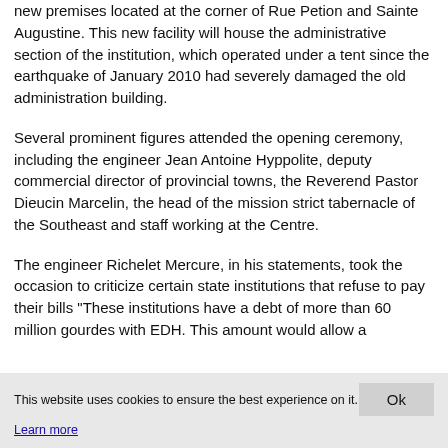new premises located at the corner of Rue Petion and Sainte Augustine. This new facility will house the administrative section of the institution, which operated under a tent since the earthquake of January 2010 had severely damaged the old administration building.
Several prominent figures attended the opening ceremony, including the engineer Jean Antoine Hyppolite, deputy commercial director of provincial towns, the Reverend Pastor Dieucin Marcelin, the head of the mission strict tabernacle of the Southeast and staff working at the Centre.
The engineer Richelet Mercure, in his statements, took the occasion to criticize certain state institutions that refuse to pay their bills "These institutions have a debt of more than 60 million gourdes with EDH. This amount would allow a
This website uses cookies to ensure the best experience on it.
Learn more